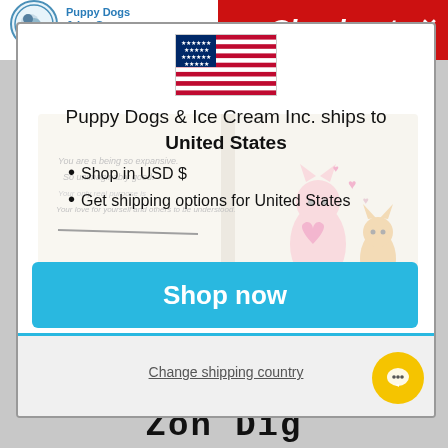[Figure (screenshot): Puppy Dogs & Ice Cream Publishing logo in top left with circular badge and blue text]
Checkout
[Figure (illustration): US flag (stars and stripes) centered in modal dialog]
Puppy Dogs & Ice Cream Inc. ships to United States
Shop in USD $
Get shipping options for United States
[Figure (illustration): Open children's book showing cats with hearts illustration on right page and text on left page]
Shop now
Change shipping country
Zon Dig